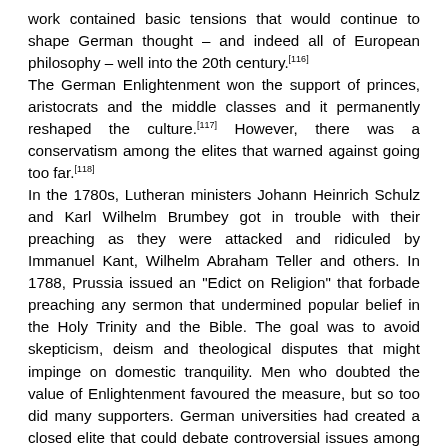work contained basic tensions that would continue to shape German thought – and indeed all of European philosophy – well into the 20th century.[116] The German Enlightenment won the support of princes, aristocrats and the middle classes and it permanently reshaped the culture.[117] However, there was a conservatism among the elites that warned against going too far.[118] In the 1780s, Lutheran ministers Johann Heinrich Schulz and Karl Wilhelm Brumbey got in trouble with their preaching as they were attacked and ridiculed by Immanuel Kant, Wilhelm Abraham Teller and others. In 1788, Prussia issued an "Edict on Religion" that forbade preaching any sermon that undermined popular belief in the Holy Trinity and the Bible. The goal was to avoid skepticism, deism and theological disputes that might impinge on domestic tranquility. Men who doubted the value of Enlightenment favoured the measure, but so too did many supporters. German universities had created a closed elite that could debate controversial issues among themselves, but spreading them to the public was seen as too risky. This intellectual elite was favoured by the state, but that might be reversed if the process of the Enlightenment proved politically or